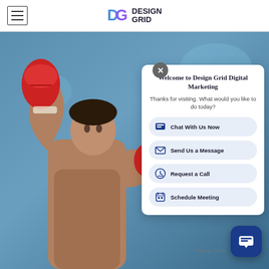[Figure (logo): Design Grid logo with DG letters in blue/purple gradient and text 'DESIGN GRID']
[Figure (photo): Boxer/fighter in red gloves against blue background]
Welcome to Design Grid Digital Marketing
Thanks for visiting. What would you like to do today?
Chat With Us Now
Send Us a Message
Request a Call
Schedule Meeting
[Figure (screenshot): Floating chat widget button in dark blue]
Privacy · Terms